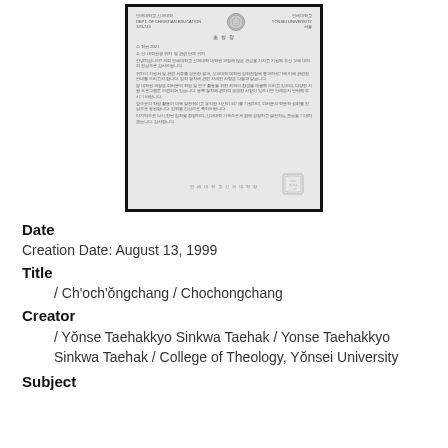[Figure (photo): Scanned Korean government/institutional letter document with letterhead, body text in Korean, official seal at bottom right, and signature line.]
Date
Creation Date: August 13, 1999
Title
/ Ch'och'ŏngchang / Chochongchang
Creator
/ Yŏnse Taehakkyo Sinkwa Taehak / Yonse Taehakkyo Sinkwa Taehak / College of Theology, Yŏnsei University
Subject